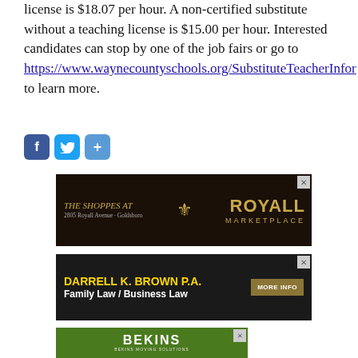license is $18.07 per hour. A non-certified substitute without a teaching license is $15.00 per hour. Interested candidates can stop by one of the job fairs or go to https://www.waynecountyschools.org/SubstituteTeacherInformation to learn more.
[Figure (other): Social media share icons: Facebook (blue), Twitter (light blue), Share (blue)]
[Figure (other): Advertisement for The Shoppes at Royall Marketplace, 2805 Royall Avenue, Goldsboro. Dark background with gold fleur-de-lis logo. Text: THE SHOPPES AT ROYALL MARKETPLACE.]
[Figure (other): Advertisement for Darrell K. Brown P.A. - Family Law / Business Law. Dark background with yellow text. MORE INFO button.]
[Figure (other): Advertisement for Bekins Moving Solutions. Green background with white BEKINS logo text. BEKINS MOVING SOLUTIONS. 800-366-6683.]